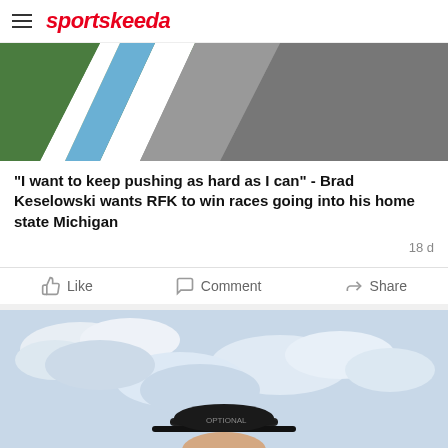sportskeeda
[Figure (photo): Aerial view of a racing circuit with grass, white and blue track markings, and asphalt]
"I want to keep pushing as hard as I can" - Brad Keselowski wants RFK to win races going into his home state Michigan
18 d
[Figure (photo): Person wearing a black cap with a logo, photographed against a cloudy sky background]